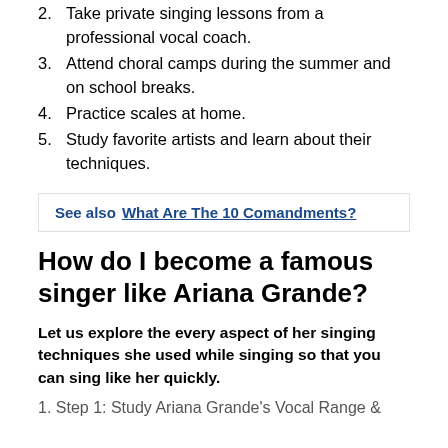2. Take private singing lessons from a professional vocal coach.
3. Attend choral camps during the summer and on school breaks.
4. Practice scales at home.
5. Study favorite artists and learn about their techniques.
See also  What Are The 10 Comandments?
How do I become a famous singer like Ariana Grande?
Let us explore the every aspect of her singing techniques she used while singing so that you can sing like her quickly.
1. Step 1: Study Ariana Grande's Vocal Range &